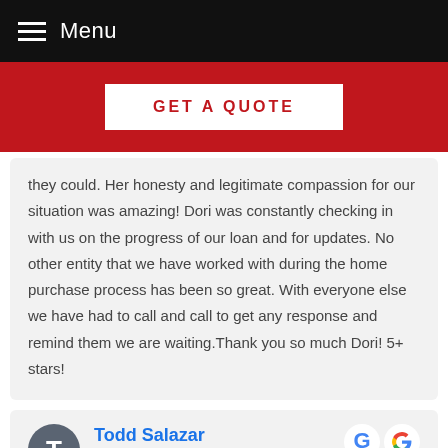Menu
[Figure (other): GET A QUOTE button on red banner background]
they could. Her honesty and legitimate compassion for our situation was amazing! Dori was constantly checking in with us on the progress of our loan and for updates. No other entity that we have worked with during the home purchase process has been so great. With everyone else we have had to call and call to get any response and remind them we are waiting.Thank you so much Dori! 5+ stars!
Todd Salazar